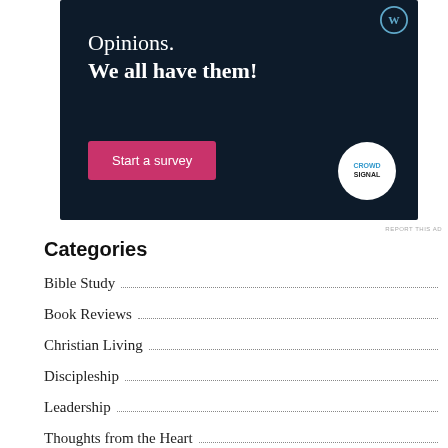[Figure (other): Advertisement banner with dark navy background. Shows text 'Opinions. We all have them!' with a pink 'Start a survey' button and CrowdSignal logo circle. WordPress logo in top right corner.]
REPORT THIS AD
Categories
Bible Study
Book Reviews
Christian Living
Discipleship
Leadership
Thoughts from the Heart